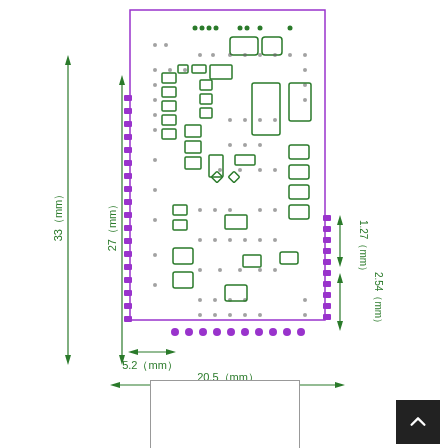[Figure (engineering-diagram): PCB module engineering drawing with dimensions: 33mm height, 27mm inner height, 20.5mm width, 5.2mm offset, 1.27mm and 2.54mm pin pitches. Shows component layout with green outlines on white background, purple border rectangle, and dimension arrows.]